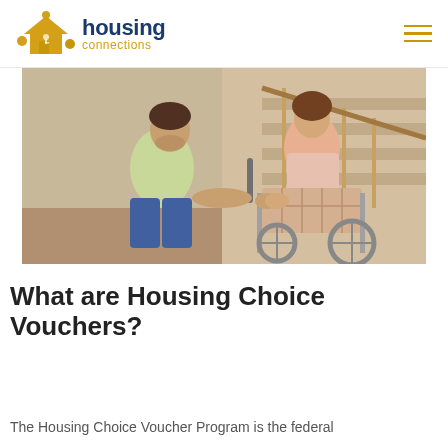housing connections
[Figure (photo): A young man kneeling beside a woman in a wheelchair, holding her hand, inside a home near a staircase. The woman has a blanket on her lap.]
What are Housing Choice Vouchers?
The Housing Choice Voucher Program is the federal